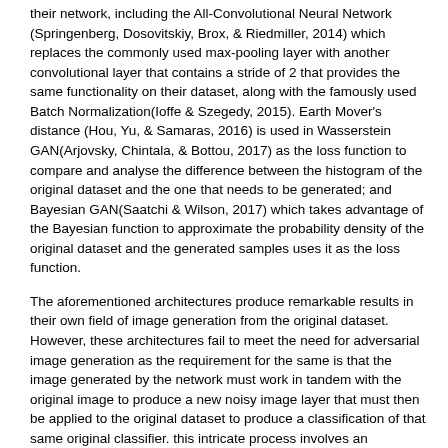their network, including the All-Convolutional Neural Network (Springenberg, Dosovitskiy, Brox, & Riedmiller, 2014) which replaces the commonly used max-pooling layer with another convolutional layer that contains a stride of 2 that provides the same functionality on their dataset, along with the famously used Batch Normalization(Ioffe & Szegedy, 2015). Earth Mover's distance (Hou, Yu, & Samaras, 2016) is used in Wasserstein GAN(Arjovsky, Chintala, & Bottou, 2017) as the loss function to compare and analyse the difference between the histogram of the original dataset and the one that needs to be generated; and Bayesian GAN(Saatchi & Wilson, 2017) which takes advantage of the Bayesian function to approximate the probability density of the original dataset and the generated samples uses it as the loss function.
The aforementioned architectures produce remarkable results in their own field of image generation from the original dataset. However, these architectures fail to meet the need for adversarial image generation as the requirement for the same is that the image generated by the network must work in tandem with the original image to produce a new noisy image layer that must then be applied to the original dataset to produce a classification of that same original classifier. this intricate process involves an intermediary step for the generation of the noisy image that these legacy networks cannot make. Hence, this paper takes inspiration from Goodfellow et al. (Goodfellow, Shlens, & Szegedy, 2014), which uses a method called Fast Sign Gradient Method. This method trains the loss function of the classifier and that of the noise generator as a combined function using the following equation:
In the equation above, the noise layer is denoted by [IJIIT.2020010105.m01] , the original image is denoted by x, the magnitude